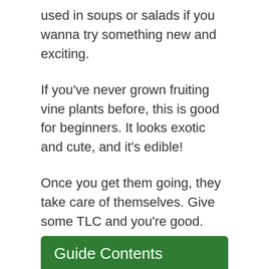used in soups or salads if you wanna try something new and exciting.
If you've never grown fruiting vine plants before, this is good for beginners. It looks exotic and cute, and it's edible!
Once you get them going, they take care of themselves. Give some TLC and you're good.
Let's dive in and learn how to grow and care for sour gherkins!
Guide Contents